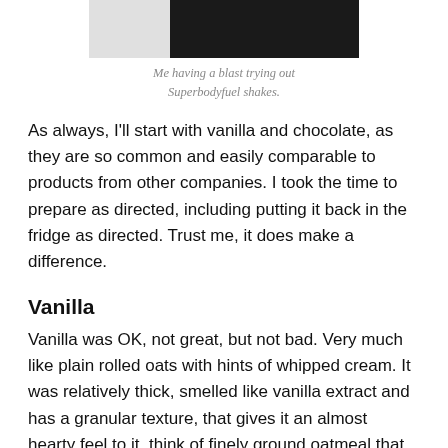[Figure (photo): A partially visible photo showing a person, with white background on the left and dark/black area on the right, cropped at the top of the page.]
Me having a blast trying out Superbodyfuel shakes.
As always, I'll start with vanilla and chocolate, as they are so common and easily comparable to products from other companies. I took the time to prepare as directed, including putting it back in the fridge as directed. Trust me, it does make a difference.
Vanilla
Vanilla was OK, not great, but not bad. Very much like plain rolled oats with hints of whipped cream. It was relatively thick, smelled like vanilla extract and has a granular texture, that gives it an almost hearty feel to it, think of finely ground oatmeal that tickles going down. I prefer smooth, but not a deal breaker.